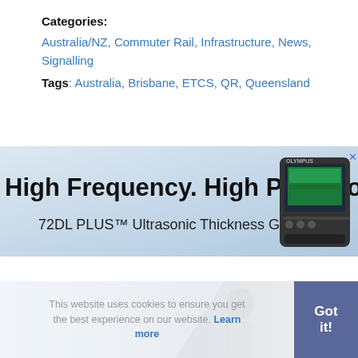Categories: Australia/NZ, Commuter Rail, Infrastructure, News, Signalling
Tags: Australia, Brisbane, ETCS, QR, Queensland
[Figure (screenshot): Advertisement banner for Olympus 72DL PLUS Ultrasonic Thickness Gauge with text 'High Frequency. High Precision.' and product image of the device]
[Figure (photo): Advertisement banner showing a railway worker in a station, partially visible, with cookie consent overlay: 'This website uses cookies to ensure you get the best experience on our website. Learn more' and a 'Got it!' button]